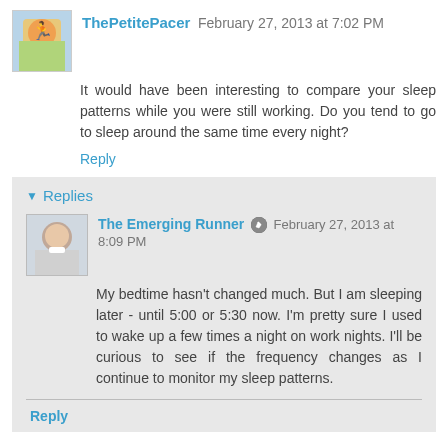ThePetitePacer  February 27, 2013 at 7:02 PM
It would have been interesting to compare your sleep patterns while you were still working. Do you tend to go to sleep around the same time every night?
Reply
Replies
The Emerging Runner  February 27, 2013 at 8:09 PM
My bedtime hasn't changed much. But I am sleeping later - until 5:00 or 5:30 now. I'm pretty sure I used to wake up a few times a night on work nights. I'll be curious to see if the frequency changes as I continue to monitor my sleep patterns.
Reply